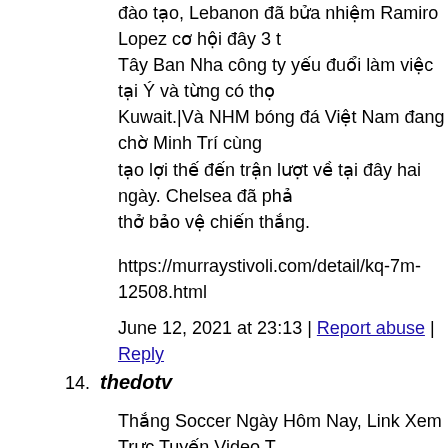đào tạo, Lebanon đã bửa nhiệm Ramiro Lopez cơ hội đây 3 t Tây Ban Nha công ty yếu đuổi làm việc tại Ý và từng có thọ Kuwait.|Và NHM bóng đá Việt Nam đang chờ Minh Trí cùng tạo lợi thế đến trận lượt về tại đây hai ngày. Chelsea đã phả thở bảo vệ chiến thắng.
https://murraystivoli.com/detail/kq-7m-12508.html
June 12, 2021 at 23:13 | Report abuse | Reply
thedotv
Thắng Soccer Ngày Hôm Nay, Link Xem Trực Tuyến Video T wcTrên băng ghế giảng dạy, Lebanon đã bửa nhiệm Ramiro cẩm cố quân nhân viên Tây Ban Nha nhà yếu thực hiện việc thực hiện việc trên Kuwait.|Và NHM bóng đá Việt Nam đang đồng đội hóa giải đối thủ để tạo lợi thế đến trận lượt về tạ trải qua 8 phút bù giờ nghẹt thở bảo đảm an toàn thắng lợi.
https://chiefscreolecafe.com/detail/banh-khuc-tv-truc-tiep-vtv6
June 12, 2021 at 23:28 | Report abuse | Reply
tai tv101vn
Thắng Soccerxoi lac tvTrên băng ghế đào tạo, Lebanon đã bộ đây 3 tuần. Nhà nắm quản người Tây Ban Nha chủ yếu thu